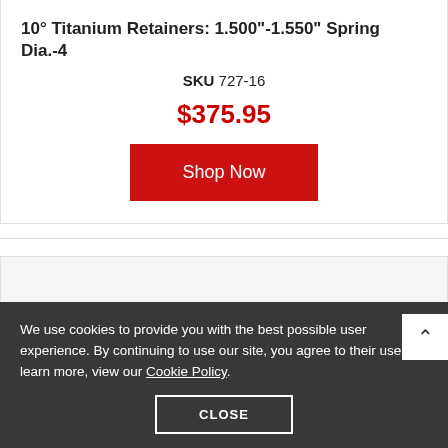10° Titanium Retainers: 1.500"-1.550" Spring Dia.-4
SKU 727-16
$375.95
Shop Now
[Figure (photo): Product image area - partially visible mechanical parts (retainers)]
We use cookies to provide you with the best possible user experience. By continuing to use our site, you agree to their use. To learn more, view our Cookie Policy.
CLOSE